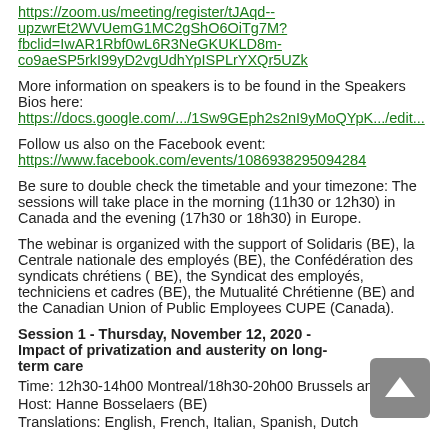https://zoom.us/meeting/register/tJAqd--upzwrEt2WVUemG1MC2gShO6OiTg7M?fbclid=IwAR1Rbf0wL6R3NeGKUKLD8m-co9aeSP5rkI99yD2vgUdhYpISPLrYXQr5UZk
More information on speakers is to be found in the Speakers Bios here: https://docs.google.com/.../1Sw9GEph2s2nI9yMoQYpK.../edit...
Follow us also on the Facebook event: https://www.facebook.com/events/1086938295094284
Be sure to double check the timetable and your timezone: The sessions will take place in the morning (11h30 or 12h30) in Canada and the evening (17h30 or 18h30) in Europe.
The webinar is organized with the support of Solidaris (BE), la Centrale nationale des employés (BE), the Confédération des syndicats chrétiens ( BE), the Syndicat des employés, techniciens et cadres (BE), the Mutualité Chrétienne (BE) and the Canadian Union of Public Employees CUPE (Canada).
Session 1 - Thursday, November 12, 2020 - Impact of privatization and austerity on long-term care
Time: 12h30-14h00 Montreal/18h30-20h00 Brussels and Milan
Host: Hanne Bosselaers (BE)
Translations: English, French, Italian, Spanish, Dutch